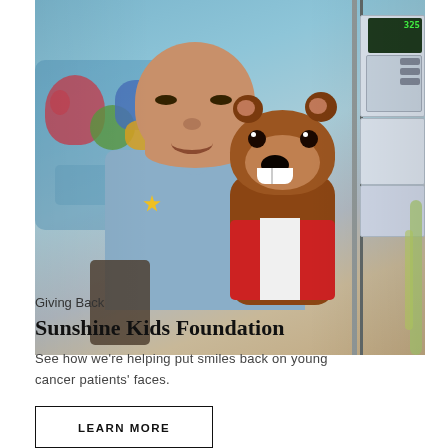[Figure (photo): A young child with no hair (cancer patient) smiling and holding a stuffed brown bear/wolf toy wearing a red and white outfit. The child wears a blue shirt with a yellow star pin. Medical IV equipment is visible in the background on the right. Colorful children's artwork is visible on the wall behind.]
Giving Back
Sunshine Kids Foundation
See how we're helping put smiles back on young cancer patients' faces.
LEARN MORE